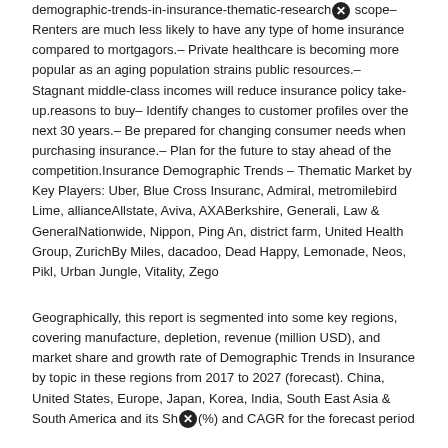demographic-trends-in-insurance-thematic-research [close icon] scope– Renters are much less likely to have any type of home insurance compared to mortgagors.– Private healthcare is becoming more popular as an aging population strains public resources.– Stagnant middle-class incomes will reduce insurance policy take-up.reasons to buy– Identify changes to customer profiles over the next 30 years.– Be prepared for changing consumer needs when purchasing insurance.– Plan for the future to stay ahead of the competition.Insurance Demographic Trends – Thematic Market by Key Players: Uber, Blue Cross Insuranc, Admiral, metromilebird Lime, allianceAllstate, Aviva, AXABerkshire, Generali, Law & GeneralNationwide, Nippon, Ping An, district farm, United Health Group, ZurichBy Miles, dacadoo, Dead Happy, Lemonade, Neos, Pikl, Urban Jungle, Vitality, Zego
Geographically, this report is segmented into some key regions, covering manufacture, depletion, revenue (million USD), and market share and growth rate of Demographic Trends in Insurance by topic in these regions from 2017 to 2027 (forecast). China, United States, Europe, Japan, Korea, India, South East Asia & South America and its Sh [close icon] (%) and CAGR for the forecast period